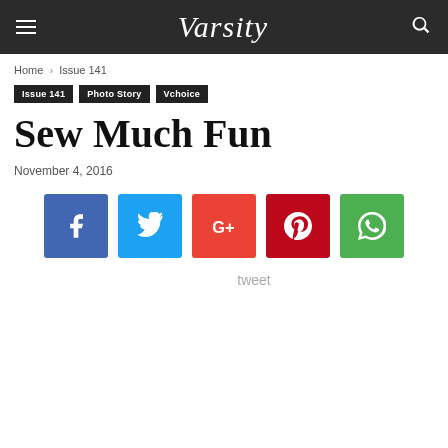Varsity
Home › Issue 141
Issue 141
Photo Story
Vchoice
Sew Much Fun
November 4, 2016
[Figure (infographic): Social share buttons: Facebook, Twitter, Google+, Pinterest, WhatsApp]
tweet